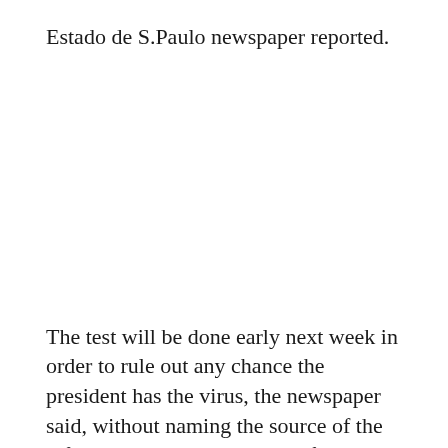Estado de S.Paulo newspaper reported.
The test will be done early next week in order to rule out any chance the president has the virus, the newspaper said, without naming the source of the information. A representative for Bolsonaro’s press office declined to comment.